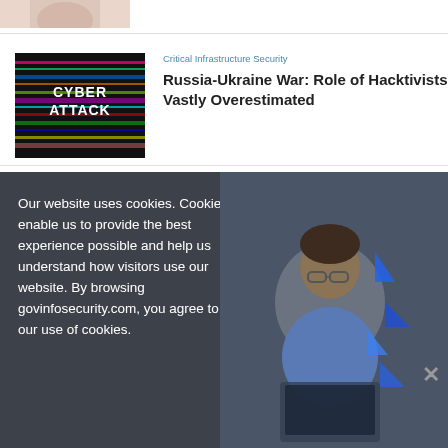[Figure (photo): Cropped top portion of a person photo, partially visible]
[Figure (photo): Cyber Attack image with green glitch-style text on dark background]
Critical Infrastructure Security
Russia-Ukraine War: Role of Hacktivists Vastly Overestimated
Our website uses cookies. Cookies enable us to provide the best experience possible and help us understand how visitors use our website. By browsing govinfosecurity.com, you agree to our use of cookies.
[Figure (photo): Advertisement image: man looking at laptop with blue geometric shapes overlay]